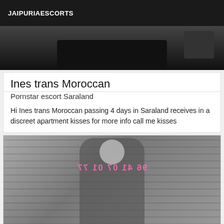JAIPURIAESCORTS
[Figure (photo): Partial photo of a person in dark clothing, cropped at waist/hip area, dark background]
Ines trans Moroccan
Pornstar escort Saraland
Hi Ines trans Moroccan passing 4 days in Saraland receives in a discreet apartment kisses for more info call me kisses
[Figure (photo): Black and white photo of a blonde woman in a dark dress standing against a brick wall, with mirrored/watermarked pink text overlay]